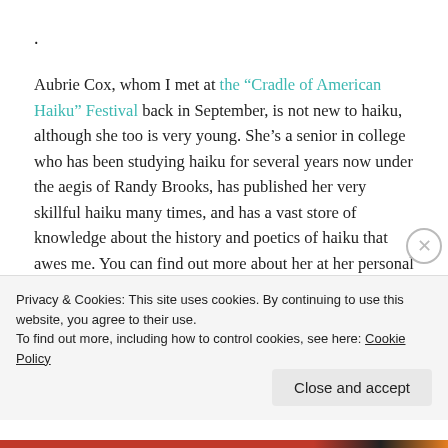.
Aubrie Cox, whom I met at the “Cradle of American Haiku” Festival back in September, is not new to haiku, although she too is very young. She’s a senior in college who has been studying haiku for several years now under the aegis of Randy Brooks, has published her very skillful haiku many times, and has a vast store of knowledge about the history and poetics of haiku that awes me. You can find out more about her at her personal blog, Aubrie Cox. But she’s just started up
Privacy & Cookies: This site uses cookies. By continuing to use this website, you agree to their use.
To find out more, including how to control cookies, see here: Cookie Policy
Close and accept